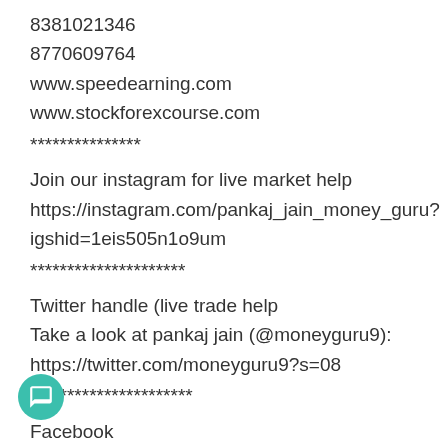8381021346
8770609764
www.speedearning.com
www.stockforexcourse.com
***************
Join our instagram for live market help
https://instagram.com/pankaj_jain_money_guru?igshid=1eis505n1o9um
*********************
Twitter handle (live trade help
Take a look at pankaj jain (@moneyguru9):
https://twitter.com/moneyguru9?s=08
**********************
Facebook
https://www.facebook.com/profile.php?id=10000026528328324
********************